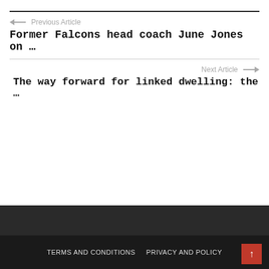← Previous Article
Former Falcons head coach June Jones on …
Next Article →
The way forward for linked dwelling: the …
TERMS AND CONDITIONS   PRIVACY AND POLICY